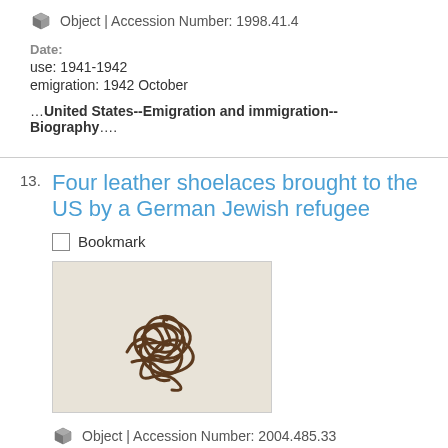Object | Accession Number: 1998.41.4
Date:
use: 1941-1942
emigration: 1942 October
…United States--Emigration and immigration--Biography….
13. Four leather shoelaces brought to the US by a German Jewish refugee
Bookmark
[Figure (photo): Photograph of four brown leather shoelaces tangled together on a light background]
Object | Accession Number: 2004.485.33
Date:
emigration: 1937 December
…United States--Emigration and immigration--